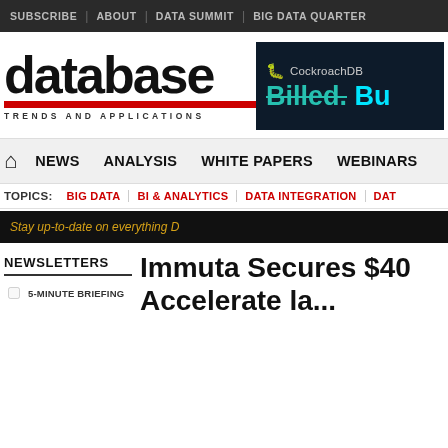SUBSCRIBE | ABOUT | DATA SUMMIT | BIG DATA QUARTERLY
[Figure (logo): Database Trends and Applications logo — large bold 'database' text with red underline bar, subtitle 'TRENDS AND APPLICATIONS']
[Figure (screenshot): CockroachDB advertisement banner — dark navy background, CockroachDB logo text, tagline 'Billed. Bu...' in teal/cyan with strikethrough on 'Billed']
NEWS | ANALYSIS | WHITE PAPERS | WEBINARS
TOPICS: BIG DATA | BI & ANALYTICS | DATA INTEGRATION | DAT...
Stay up-to-date on everything D...
NEWSLETTERS
5-MINUTE BRIEFING
Immuta Secures $40 Accelerate...